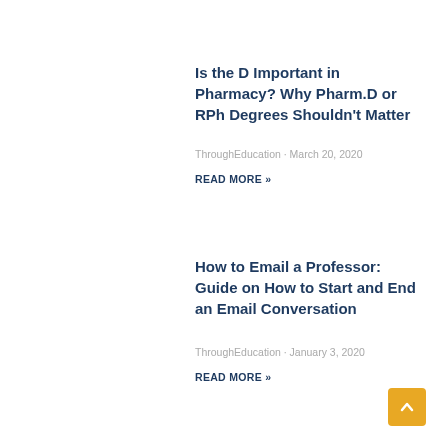Is the D Important in Pharmacy? Why Pharm.D or RPh Degrees Shouldn't Matter
ThroughEducation · March 20, 2020
READ MORE »
How to Email a Professor: Guide on How to Start and End an Email Conversation
ThroughEducation · January 3, 2020
READ MORE »